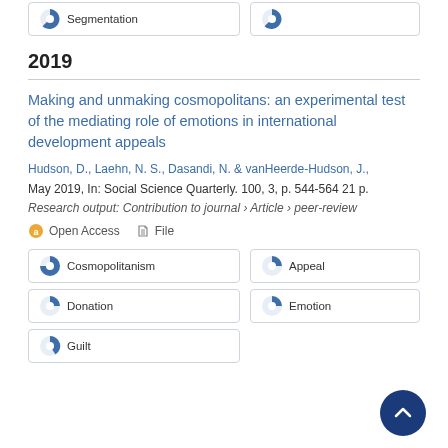Segmentation
2019
Making and unmaking cosmopolitans: an experimental test of the mediating role of emotions in international development appeals
Hudson, D., Laehn, N. S., Dasandi, N. & vanHeerde-Hudson, J., May 2019, In: Social Science Quarterly. 100, 3, p. 544-564 21 p.
Research output: Contribution to journal › Article › peer-review
Open Access   File
Cosmopolitanism
Appeal
Donation
Emotion
Guilt